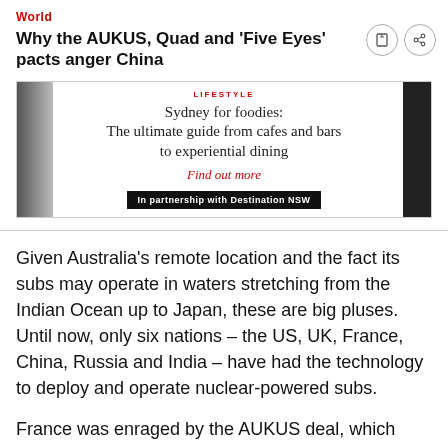World
Why the AUKUS, Quad and 'Five Eyes' pacts anger China
[Figure (infographic): Advertisement block: LIFESTYLE label in red, headline 'Sydney for foodies: The ultimate guide from cafes and bars to experiential dining', red italic link 'Find out more', black banner 'In partnership with Destination NSW'. Left and right decorative image strips.]
Given Australia’s remote location and the fact its subs may operate in waters stretching from the Indian Ocean up to Japan, these are big pluses. Until now, only six nations – the US, UK, France, China, Russia and India – have had the technology to deploy and operate nuclear-powered subs.
France was enraged by the AUKUS deal, which came as a surprise, because Australia simultaneously cancelled a US$90 billion...